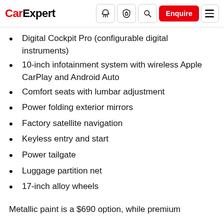CarExpert
Digital Cockpit Pro (configurable digital instruments)
10-inch infotainment system with wireless Apple CarPlay and Android Auto
Comfort seats with lumbar adjustment
Power folding exterior mirrors
Factory satellite navigation
Keyless entry and start
Power tailgate
Luggage partition net
17-inch alloy wheels
Metallic paint is a $690 option, while premium